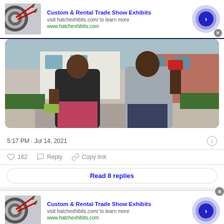[Figure (screenshot): Top advertisement banner for Custom & Rental Trade Show Exhibits by hatchexhibits.com, showing a dartboard image, text, and a blue arrow button]
[Figure (photo): Two men standing outdoors holding money and a phone/drink, wearing casual clothing]
5:17 PM · Jul 14, 2021
162   Reply   Copy link
Read 8 replies
[Figure (screenshot): Bottom advertisement banner for Custom & Rental Trade Show Exhibits by hatchexhibits.com, duplicate of top ad]